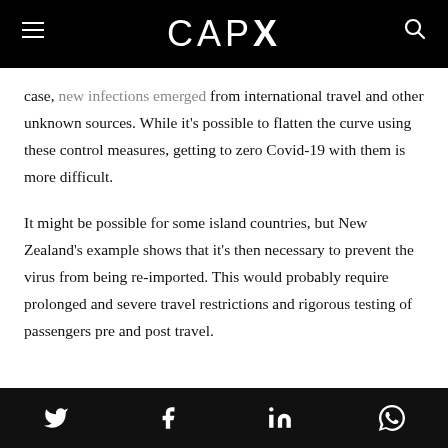CAPX
case, new infections emerged from international travel and other unknown sources. While it's possible to flatten the curve using these control measures, getting to zero Covid-19 with them is more difficult.
It might be possible for some island countries, but New Zealand's example shows that it's then necessary to prevent the virus from being re-imported. This would probably require prolonged and severe travel restrictions and rigorous testing of passengers pre and post travel.
Twitter Facebook LinkedIn WhatsApp